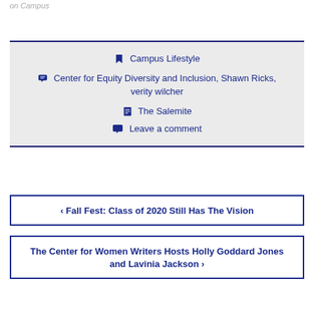on Campus
Campus Lifestyle
Center for Equity Diversity and Inclusion, Shawn Ricks, verity wilcher
The Salemite
Leave a comment
< Fall Fest: Class of 2020 Still Has The Vision
The Center for Women Writers Hosts Holly Goddard Jones and Lavinia Jackson >